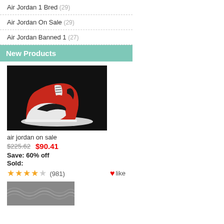Air Jordan 1 Bred (29)
Air Jordan On Sale (29)
Air Jordan Banned 1 (27)
New Products
[Figure (photo): Air Jordan sneaker, red, white and black colorway, on dark background]
air jordan on sale
$225.62  $90.41
Save: 60% off
Sold:
★★★★☆ (981)  ♥like
[Figure (photo): Partial view of a sneaker, grey tones, cropped at bottom]